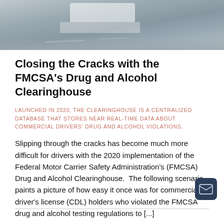[Figure (photo): A photo strip showing a partial view of a commercial vehicle/truck on a road surface, with gray tones, viewed from above or side angle.]
Closing the Cracks with the FMCSA's Drug and Alcohol Clearinghouse
LAUNCHED IN 2020, THE CLEARINGHOUSE IS A CENTRALIZED DATABASE THAT STORES NEAR REAL-TIME DATA ABOUT COMMERCIAL DRIVERS' DRUG AND ALCOHOL VIOLATIONS.
Slipping through the cracks has become much more difficult for drivers with the 2020 implementation of the Federal Motor Carrier Safety Administration's (FMCSA) Drug and Alcohol Clearinghouse. The following scenario paints a picture of how easy it once was for commercial driver's license (CDL) holders who violated the FMCSA drug and alcohol testing regulations to [...]